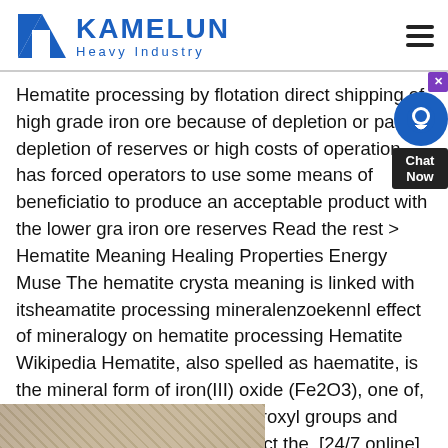KAMELUN Heavy Industry
Hematite processing by flotation direct shipping of high grade iron ore because of depletion or partial depletion of reserves or high costs of operation has forced operators to use some means of beneficiation to produce an acceptable product with the lower grade iron ore reserves Read the rest > Hematite Meaning Healing Properties Energy Muse The hematite crystal meaning is linked with itsheamatite processing mineralenzoekennl effect of mineralogy on hematite processing Hematite Wikipedia Hematite, also spelled as haematite, is the mineral form of iron(III) oxide (Fe2O3), one of, various contents of water, hydroxyl groups and vacancy substitutions that affect the, [24/7 online] hematite ore processing christoartfairnleffect of mineralogy on hematite processing
[Figure (photo): Bottom partial image showing a brownish/tan textured surface, likely mineral or rock material]